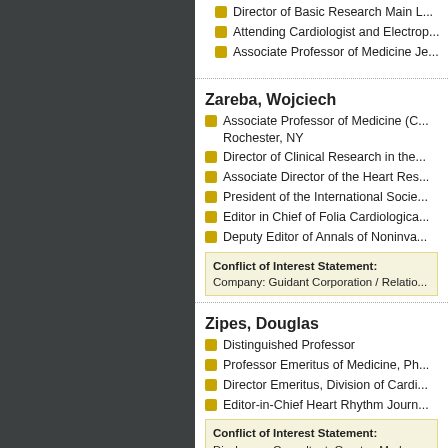Director of Basic Research Main L...
Attending Cardiologist and Electrop...
Associate Professor of Medicine Je...
Zareba, Wojciech
Associate Professor of Medicine (C... Rochester, NY
Director of Clinical Research in the...
Associate Director of the Heart Res...
President of the International Socie...
Editor in Chief of Folia Cardiologica...
Deputy Editor of Annals of Noninva...
Conflict of Interest Statement: Company: Guidant Corporation / Relatio...
Zipes, Douglas
Distinguished Professor
Professor Emeritus of Medicine, Ph...
Director Emeritus, Division of Cardi...
Editor-in-Chief Heart Rhythm Journ...
Conflict of Interest Statement: Disclosure: Consultant, Grantee Medrо...